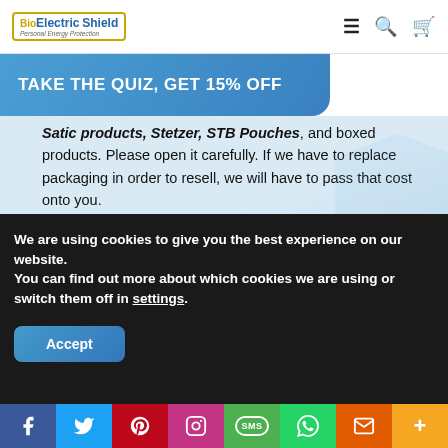BioElectric Shield Personal Energy Protection
TAKE THE QUIZ, GET 15% OFF
Satic products, Stetzer, STB Pouches, and boxed products. Please open it carefully. If we have to replace packaging in order to resell, we will have to pass that cost onto you.
When returning a product, you are responsible for shipping it back to us. There are no refunds on charges you paid to have items shipped to you.
We are not responsible for loss or damage in transit
We are using cookies to give you the best experience on our website.
You can find out more about which cookies we are using or switch them off in settings.